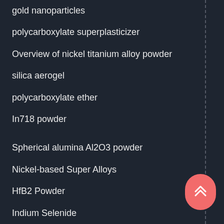gold nanoparticles
polycarboxylate superplasticizer
Overview of nickel titanium alloy powder
silica aerogel
polycarboxylate ether
In718 powder
Spherical alumina Al2O3 powder
Nickel-based Super Alloys
HfB2 Powder
Indium Selenide
Spherical graphite
concrete water reducer
Zirconium disilicide zrsi2 powder